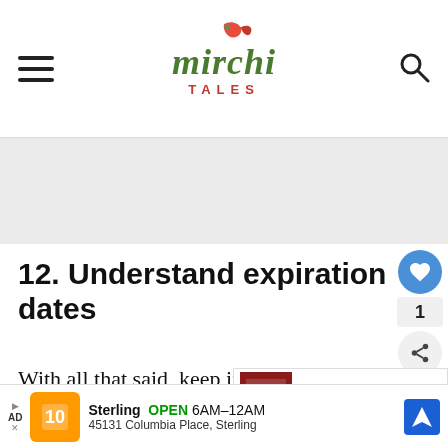mirchi TALES
[Figure (other): Advertisement banner placeholder (gray rectangle)]
12. Understand expiration dates
With all that said, keep in mind that all foods do have an expiration date. As much as it pains us, sometimes it needs to...
[Figure (other): What's Next panel showing book cover image with text 'Creative ways to use up...']
[Figure (other): Bottom advertisement bar: Sterling OPEN 6AM-12AM, 45131 Columbia Place, Sterling]